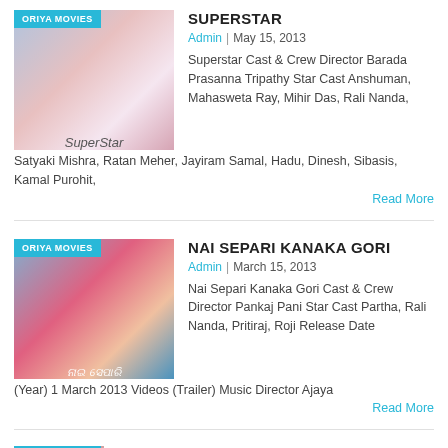[Figure (photo): Movie poster for Superstar Oriya film with badge 'ORIYA MOVIES']
SUPERSTAR
Admin | May 15, 2013
Superstar Cast & Crew Director Barada Prasanna Tripathy Star Cast Anshuman, Mahasweta Ray, Mihir Das, Rali Nanda, Satyaki Mishra, Ratan Meher, Jayiram Samal, Hadu, Dinesh, Sibasis, Kamal Purohit,
Read More
[Figure (photo): Movie poster for Nai Separi Kanaka Gori Oriya film with badge 'ORIYA MOVIES']
NAI SEPARI KANAKA GORI
Admin | March 15, 2013
Nai Separi Kanaka Gori Cast & Crew Director Pankaj Pani Star Cast Partha, Rali Nanda, Pritiraj, Roji Release Date (Year) 1 March 2013 Videos (Trailer) Music Director Ajaya
Read More
[Figure (photo): Movie poster for Maa Khoje Mamata Oriya film with badge 'ORIYA MOVIES']
MAA KHOJE MAMATA